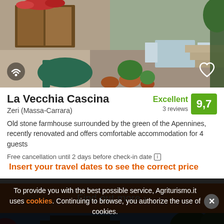[Figure (photo): Exterior courtyard of La Vecchia Cascina stone farmhouse with garden chairs, terracotta pots, flowers, stone walls, and stairs]
La Vecchia Cascina
Zeri (Massa-Carrara)
Excellent 9,7 3 reviews
Old stone farmhouse surrounded by the green of the Apennines, recently renovated and offers comfortable accommodation for 4 guests
Free cancellation until 2 days before check-in date [i] Insert your travel dates to see the correct price
Find out more >
[Figure (photo): Exterior of another farmhouse or agriturismo property at dusk with trees and red flowers]
To provide you with the best possible service, Agriturismo.it uses cookies. Continuing to browse, you authorize the use of cookies.